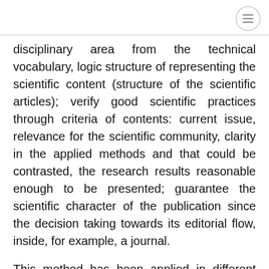disciplinary area from the technical vocabulary, logic structure of representing the scientific content (structure of the scientific articles); verify good scientific practices through criteria of contents: current issue, relevance for the scientific community, clarity in the applied methods and that could be contrasted, the research results reasonable enough to be presented; guarantee the scientific character of the publication since the decision taking towards its editorial flow, inside, for example, a journal.
This method has been applied in different ways that have been established as standards that are the most used by the scientific journals, among them, are: